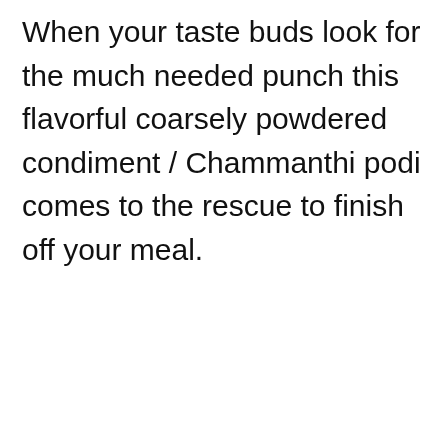When your taste buds look for the much needed punch this flavorful coarsely powdered condiment / Chammanthi podi comes to the rescue to finish off your meal.